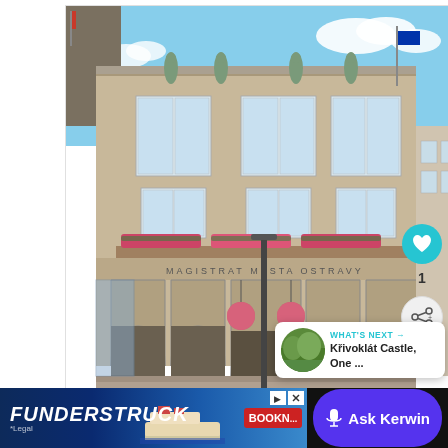[Figure (photo): Photograph of a large Art Deco municipal building (Magistrat mesta Ostravy / Ostrava City Hall) with statues on the roofline, flower boxes on a balcony ledge, arched ground-floor arcades, a tall lamppost in the foreground, and a sunny blue sky. A flag pole with flags is visible at the top left. Stone paved plaza in front with benches.]
1
WHAT'S NEXT → Křivoklát Castle, One ...
FUNDERSTRUCK
*Legal
BOOKN...
Ask Kerwin